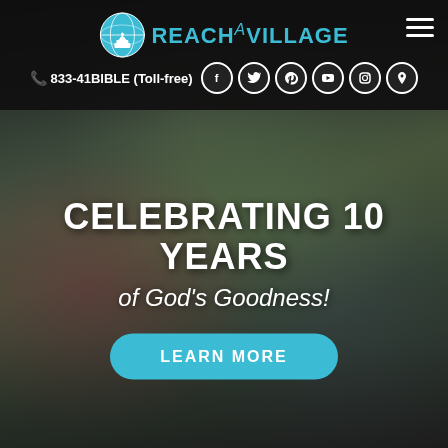[Figure (screenshot): Reach A Village website screenshot with logo, phone number, social media icons, hamburger menu, and hero image of smiling woman with group of people in background]
REACH A VILLAGE | 833-41BIBLE (Toll-free)
CELEBRATING 10 YEARS of God's Goodness!
LEARN MORE